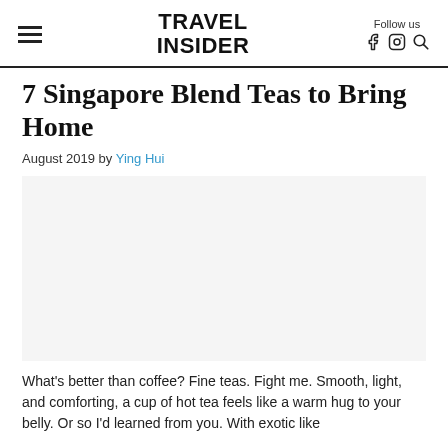TRAVEL INSIDER | Follow us
7 Singapore Blend Teas to Bring Home
August 2019 by Ying Hui
[Figure (photo): Large image placeholder area (blank/white) for article feature photo]
What's better than coffee? Fine teas. Fight me. Smooth, light, and comforting, a cup of hot tea feels like a warm hug to your belly. Or so I'd learned from you. With exotic like